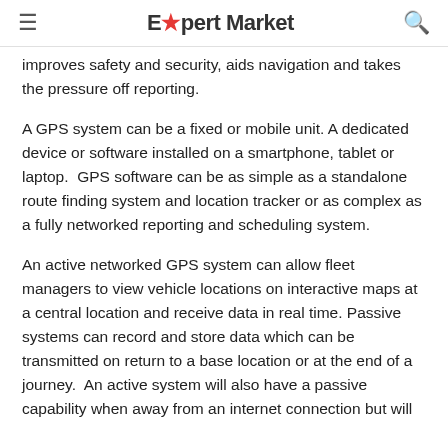Expert Market
improves safety and security, aids navigation and takes the pressure off reporting.
A GPS system can be a fixed or mobile unit. A dedicated device or software installed on a smartphone, tablet or laptop.  GPS software can be as simple as a standalone route finding system and location tracker or as complex as a fully networked reporting and scheduling system.
An active networked GPS system can allow fleet managers to view vehicle locations on interactive maps at a central location and receive data in real time. Passive systems can record and store data which can be transmitted on return to a base location or at the end of a journey.  An active system will also have a passive capability when away from an internet connection but will